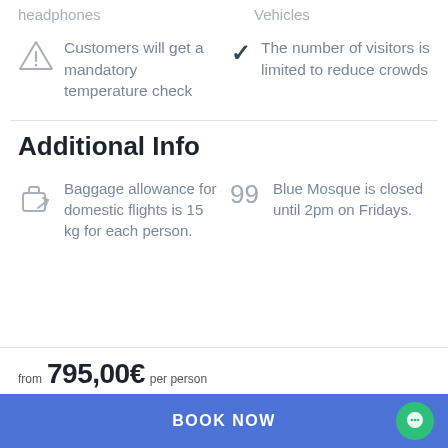headphones
Vehicles
Customers will get a mandatory temperature check
The number of visitors is limited to reduce crowds
Additional Info
Baggage allowance for domestic flights is 15 kg for each person.
Blue Mosque is closed until 2pm on Fridays.
from 795,00€ per person
BOOK NOW